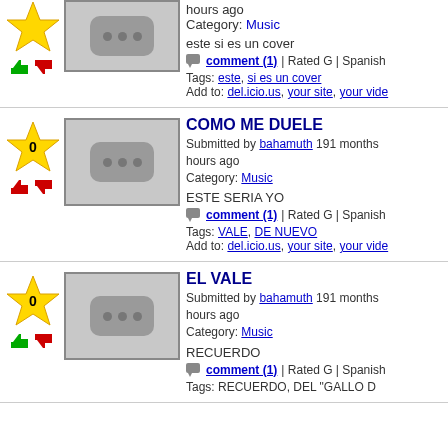Entry 1 (partial top): este si es un cover | comment(1) | Rated G | Spanish | Tags: este, si es un cover | Add to: del.icio.us, your site, your vide
COMO ME DUELE - Submitted by bahamuth 191 months hours ago Category: Music. ESTE SERIA YO. comment (1) | Rated G | Spanish. Tags: VALE, DE NUEVO. Add to: del.icio.us, your site, your vide
EL VALE - Submitted by bahamuth 191 months hours ago Category: Music. RECUERDO. comment (1) | Rated G | Spanish. Tags: RECUERDO, DEL "GALLO D